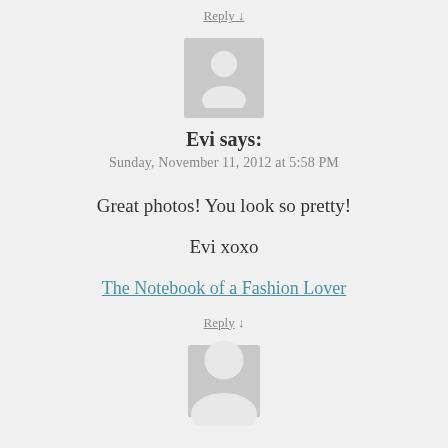Reply ↓
[Figure (illustration): Generic user avatar placeholder icon in gray]
Evi says:
Sunday, November 11, 2012 at 5:58 PM
Great photos! You look so pretty!
Evi xoxo
The Notebook of a Fashion Lover
Reply ↓
[Figure (illustration): Generic user avatar placeholder icon in gray (second)]